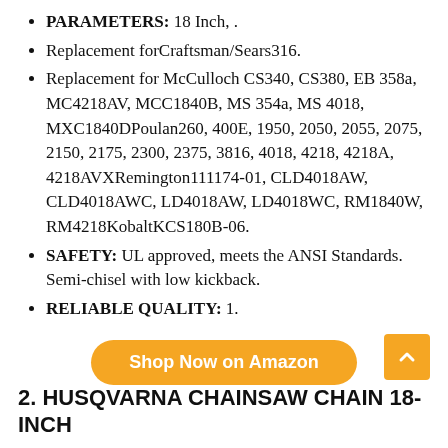PARAMETERS: 18 Inch, .
Replacement for⁠Craftsman/Sears⁠316.
Replacement for McCulloch CS340, CS380, EB 358a, MC4218AV, MCC1840B, MS 354a, MS 4018, MXC1840D⁠Poulan⁠260, 400E, 1950, 2050, 2055, 2075, 2150, 2175, 2300, 2375, 3816, 4018, 4218, 4218A, 4218AVX⁠Remington⁠111174-01, CLD4018AW, CLD4018AWC, LD4018AW, LD4018WC, RM1840W, RM4218⁠Kobalt⁠KCS180B-06.
SAFETY: UL approved, meets the ANSI Standards. Semi-chisel with low kickback.
RELIABLE QUALITY: 1.
Shop Now on Amazon
2. HUSQVARNA CHAINSAW CHAIN 18-INCH